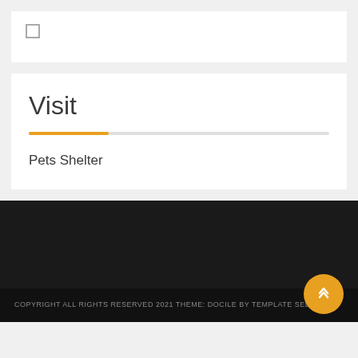[Figure (other): White card with a small empty checkbox square]
Visit
Pets Shelter
COPYRIGHT ALL RIGHTS RESERVED 2021 THEME: DOCILE BY TEMPLATE SELL.